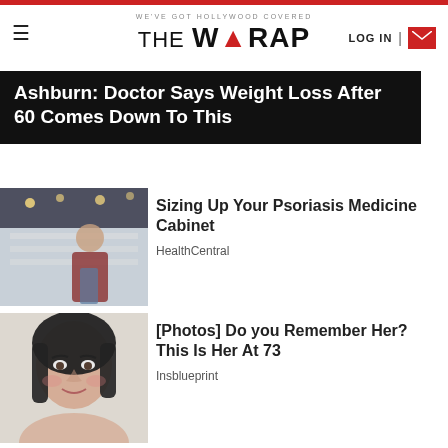WE'VE GOT HOLLYWOOD COVERED — THE WRAP
[Figure (screenshot): Banner advertisement: Ashburn: Doctor Says Weight Loss After 60 Comes Down To This]
[Figure (photo): Woman browsing products in a pharmacy/store aisle]
Sizing Up Your Psoriasis Medicine Cabinet
HealthCentral
[Figure (photo): Portrait of a woman with dark hair, smiling]
[Photos] Do you Remember Her? This Is Her At 73
Insblueprint